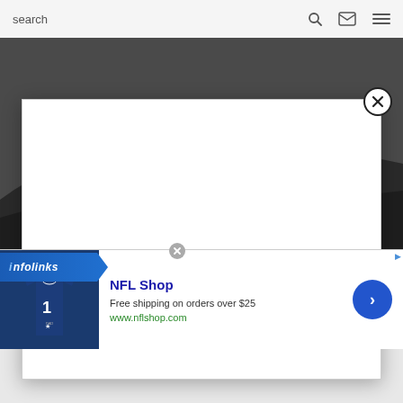search
[Figure (screenshot): Website screenshot showing a dark landscape/cliff background image behind a white modal popup, with an infolinks ad bar and an NFL Shop advertisement banner at the bottom]
NFL Shop
Free shipping on orders over $25
www.nflshop.com